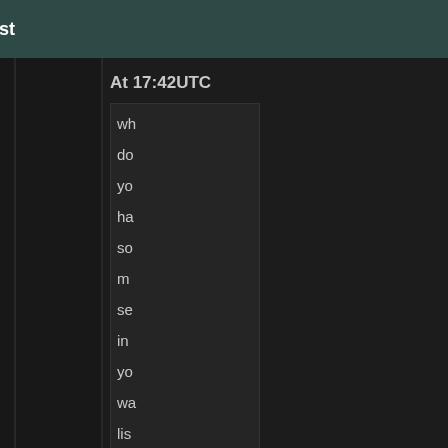Home | News | Forum | Reviews | Podcast
At 17:42UTC wh do yo ha so m se in yo wa lis
Because that's the focus of